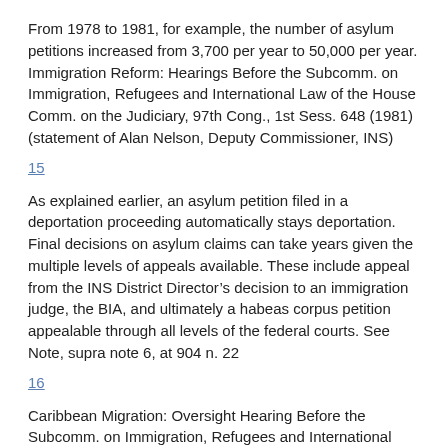From 1978 to 1981, for example, the number of asylum petitions increased from 3,700 per year to 50,000 per year. Immigration Reform: Hearings Before the Subcomm. on Immigration, Refugees and International Law of the House Comm. on the Judiciary, 97th Cong., 1st Sess. 648 (1981) (statement of Alan Nelson, Deputy Commissioner, INS)
15
As explained earlier, an asylum petition filed in a deportation proceeding automatically stays deportation. Final decisions on asylum claims can take years given the multiple levels of appeals available. These include appeal from the INS District Director's decision to an immigration judge, the BIA, and ultimately a habeas corpus petition appealable through all levels of the federal courts. See Note, supra note 6, at 904 n. 22
16
Caribbean Migration: Oversight Hearing Before the Subcomm. on Immigration, Refugees and International Law of the House Comm. on the Judiciary, 96th Cong. 2d Sess. 225 (1980). See also supra n. 6,